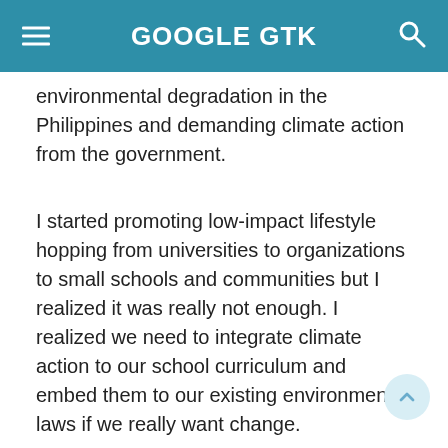GOOGLE GTK
environmental degradation in the Philippines and demanding climate action from the government.
I started promoting low-impact lifestyle hopping from universities to organizations to small schools and communities but I realized it was really not enough. I realized we need to integrate climate action to our school curriculum and embed them to our existing environmental laws if we really want change.
VP Leni Robredo's presidency was my hope.
Her candidacy was my hope for our underpaid and overworked forest rangers who are killed by poachers. It was hope for our